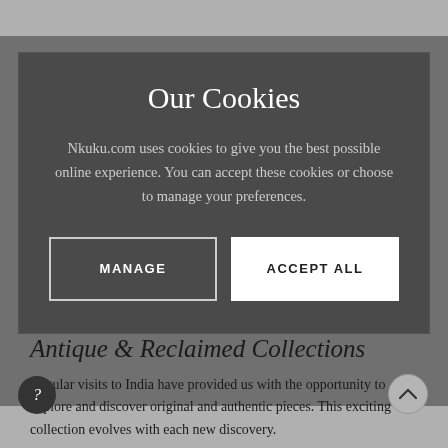10% OFF YOUR FIRST ORDER
Our Cookies
Nkuku.com uses cookies to give you the best possible online experience. You can accept these cookies or choose to manage your preferences.
MANAGE
ACCEPT ALL
Antique & Reclaimed Collections
Regular visits to India have provided us with the opportunity to explore and discover original and authentic pieces. This exciting collection evolves with each new discovery.